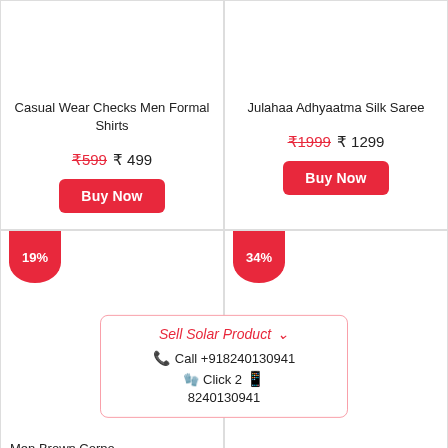Casual Wear Checks Men Formal Shirts
₹599  ₹ 499
Buy Now
Julahaa Adhyaatma Silk Saree
₹1999  ₹ 1299
Buy Now
19%
34%
Sell Solar Product
📞 Call +918240130941
Click 2 🟢 8240130941
Men Brown Corpo
Shoe